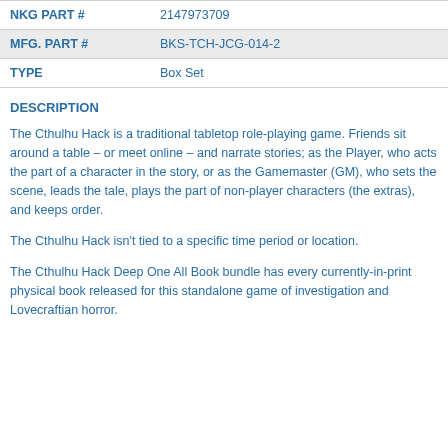| Field | Value |
| --- | --- |
| NKG PART # | 2147973709 |
| MFG. PART # | BKS-TCH-JCG-014-2 |
| TYPE | Box Set |
DESCRIPTION
The Cthulhu Hack is a traditional tabletop role-playing game. Friends sit around a table – or meet online – and narrate stories; as the Player, who acts the part of a character in the story, or as the Gamemaster (GM), who sets the scene, leads the tale, plays the part of non-player characters (the extras), and keeps order.
The Cthulhu Hack isn't tied to a specific time period or location.
The Cthulhu Hack Deep One All Book bundle has every currently-in-print physical book released for this standalone game of investigation and Lovecraftian horror.